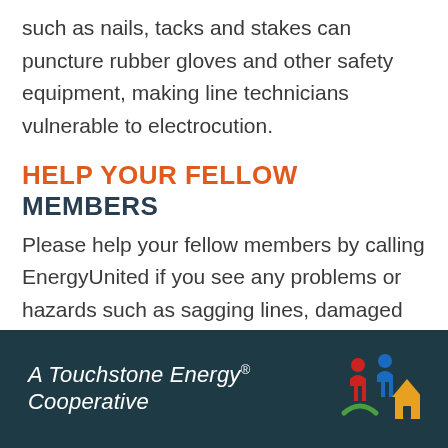such as nails, tacks and stakes can puncture rubber gloves and other safety equipment, making line technicians vulnerable to electrocution.
HELP YOUR FELLOW MEMBERS
Please help your fellow members by calling EnergyUnited if you see any problems or hazards such as sagging lines, damaged poles or loose wires. Contact Customer Care at 1-800-522-3793.
A Touchstone Energy® Cooperative